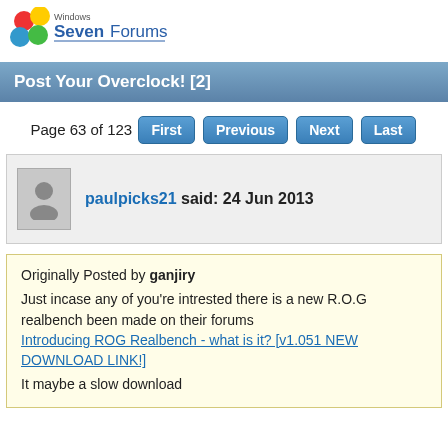Windows SevenForums
Post Your Overclock! [2]
Page 63 of 123  First  Previous  Next  Last
paulpicks21 said: 24 Jun 2013
Originally Posted by ganjiry
Just incase any of you're intrested there is a new R.O.G realbench been made on their forums
Introducing ROG Realbench - what is it? [v1.051 NEW DOWNLOAD LINK!]
It maybe a slow download